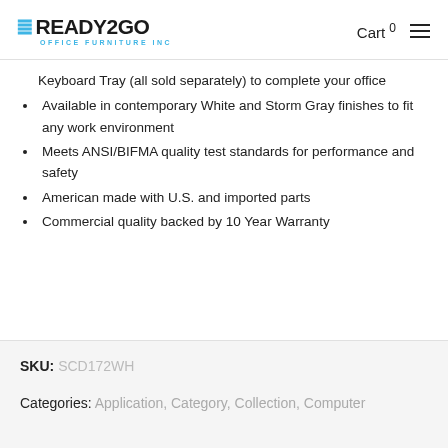READY2GO OFFICE FURNITURE INC — Cart 0
Keyboard Tray (all sold separately) to complete your office
Available in contemporary White and Storm Gray finishes to fit any work environment
Meets ANSI/BIFMA quality test standards for performance and safety
American made with U.S. and imported parts
Commercial quality backed by 10 Year Warranty
SKU: SCD172WH
Categories: Application, Category, Collection, Computer